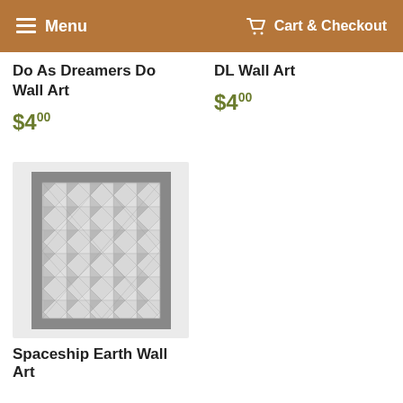Menu  Cart & Checkout
Do As Dreamers Do Wall Art
$4.00
DL Wall Art
$4.00
[Figure (photo): Framed wall art with geometric triangular pattern in gray and white, shown in a gray frame on a light background]
Spaceship Earth Wall Art